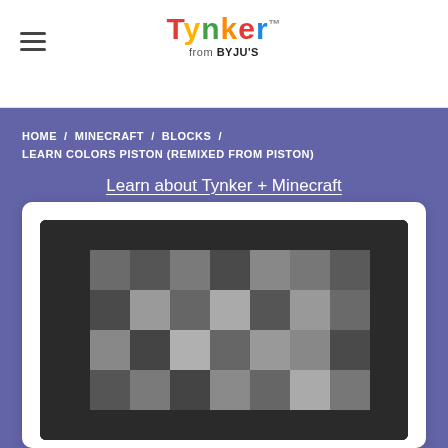Tynker™ from BYJU'S
HOME / MINECRAFT / BLOCKS / LEARN COLORS PISTON (REMIXED FROM PISTON)
Learn about Tynker + Minecraft
[Figure (screenshot): A Minecraft gameplay screenshot showing a pixelated/blocky scene with gray and dark stone blocks, rendered inside a laptop/monitor frame on a white card.]